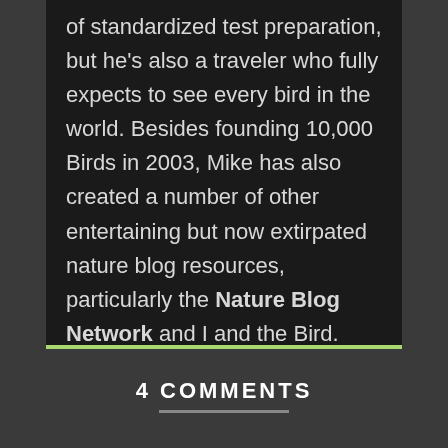of standardized test preparation, but he's also a traveler who fully expects to see every bird in the world. Besides founding 10,000 Birds in 2003, Mike has also created a number of other entertaining but now extirpated nature blog resources, particularly the Nature Blog Network and I and the Bird.
4 COMMENTS